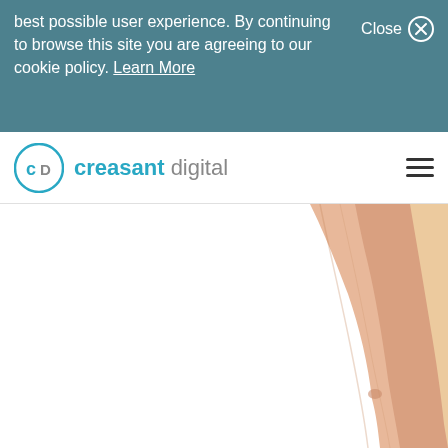best possible user experience. By continuing to browse this site you are agreeing to our cookie policy. Learn More
Close
[Figure (logo): Creasant Digital logo with circular CD icon in teal/blue]
[Figure (photo): Partial view of a human torso/body on white background, positioned on the right side of the page]